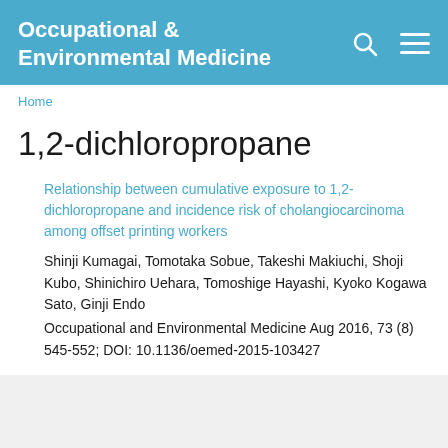Occupational & Environmental Medicine
Home
1,2-dichloropropane
Relationship between cumulative exposure to 1,2-dichloropropane and incidence risk of cholangiocarcinoma among offset printing workers
Shinji Kumagai, Tomotaka Sobue, Takeshi Makiuchi, Shoji Kubo, Shinichiro Uehara, Tomoshige Hayashi, Kyoko Kogawa Sato, Ginji Endo
Occupational and Environmental Medicine Aug 2016, 73 (8) 545-552; DOI: 10.1136/oemed-2015-103427